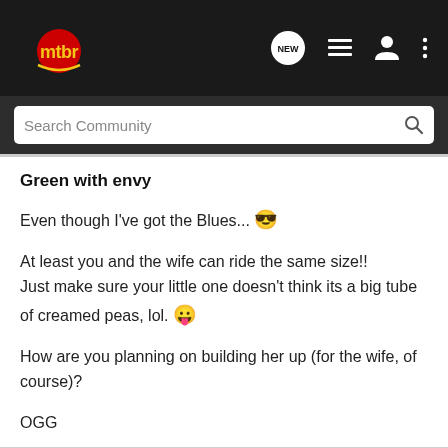mtbr navigation bar with logo and icons
Search Community
Green with envy
Even though I've got the Blues... 😎

At least you and the wife can ride the same size!! Just make sure your little one doesn't think its a big tube of creamed peas, lol. 😛

How are you planning on building her up (for the wife, of course)?

OGG